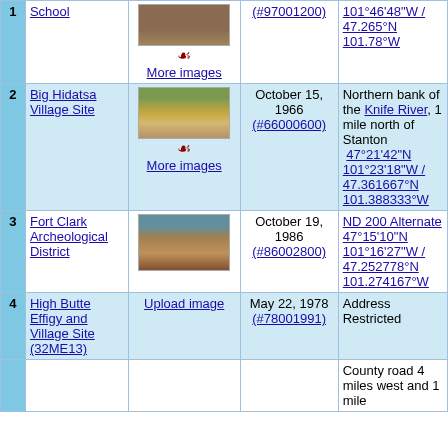| # | Name | Image | Date listed | Location |
| --- | --- | --- | --- | --- |
| 1 | School | [image] More images | (#97001200) | 101°46'48"W / 47.265°N 101.78°W |
| 2 | Big Hidatsa Village Site | [image] More images | October 15, 1966 (#66000600) | Northern bank of the Knife River, 1 mile north of Stanton 47°21'42"N 101°23'18"W / 47.361667°N 101.388333°W |
| 3 | Fort Clark Archeological District | [image] | October 19, 1986 (#86002800) | ND 200 Alternate 47°15'10"N 101°16'27"W / 47.252778°N 101.274167°W |
| 4 | High Butte Effigy and Village Site (32ME13) | Upload image | May 22, 1978 (#78001991) | Address Restricted |
| 5 |  |  |  | County road 4 miles west and 1 mile |